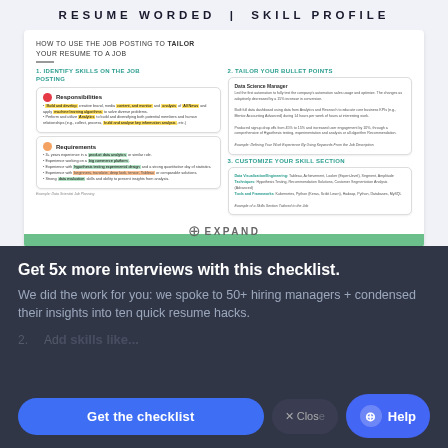RESUME WORDED | SKILL PROFILE
HOW TO USE THE JOB POSTING TO TAILOR YOUR RESUME TO A JOB
1. IDENTIFY SKILLS ON THE JOB POSTING
[Figure (infographic): Infographic showing two columns: left column shows job posting with Responsibilities (red dot) and Requirements (yellow dot) sections with highlighted keywords; right column shows tailored resume bullet points and customized skill section examples.]
2. TAILOR YOUR BULLET POINTS
3. CUSTOMIZE YOUR SKILL SECTION
EXPAND
Get 5x more interviews with this checklist.
We did the work for you: we spoke to 50+ hiring managers + condensed their insights into ten quick resume hacks.
Get the checklist
✕ Close
Help